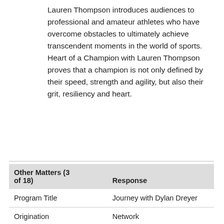Lauren Thompson introduces audiences to professional and amateur athletes who have overcome obstacles to ultimately achieve transcendent moments in the world of sports. Heart of a Champion with Lauren Thompson proves that a champion is not only defined by their speed, strength and agility, but also their grit, resiliency and heart.
| Other Matters (3 of 18) | Response |
| --- | --- |
| Program Title | Journey with Dylan Dreyer |
| Origination | Network |
| Day/Time | Saturday, Gold Monday... |